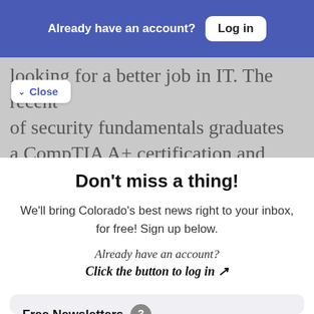Already have an account? Log in
looking for a better job in IT. The recent of security fundamentals graduates a CompTIA A+ certification and over
Close
Don't miss a thing!
We'll bring Colorado's best news right to your inbox, for free! Sign up below.
Already have an account? Click the button to log in ↗
Free Newsletters 3
The Sunriser - Newsletter
A guided tour through the best in Colorado journalism. Every